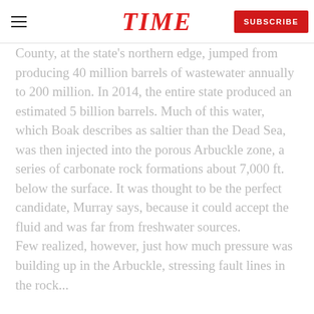TIME | SUBSCRIBE
County, at the state's northern edge, jumped from producing 40 million barrels of wastewater annually to 200 million. In 2014, the entire state produced an estimated 5 billion barrels. Much of this water, which Boak describes as saltier than the Dead Sea, was then injected into the porous Arbuckle zone, a series of carbonate rock formations about 7,000 ft. below the surface. It was thought to be the perfect candidate, Murray says, because it could accept the fluid and was far from freshwater sources.
Few realized, however, just how much pressure was building up in the Arbuckle, stressing fault lines in the rock...